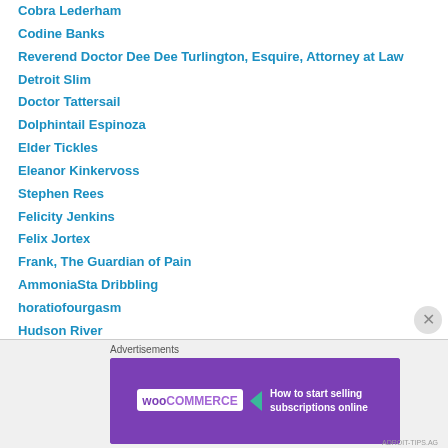Cobra Lederham
Codine Banks
Reverend Doctor Dee Dee Turlington, Esquire, Attorney at Law
Detroit Slim
Doctor Tattersail
Dolphintail Espinoza
Elder Tickles
Eleanor Kinkervoss
Stephen Rees
Felicity Jenkins
Felix Jortex
Frank, The Guardian of Pain
AmmoniaSta Dribbling
horatiofourgasm
Hudson River
Blaise Bernard
[Figure (screenshot): WooCommerce advertisement banner: 'How to start selling subscriptions online']